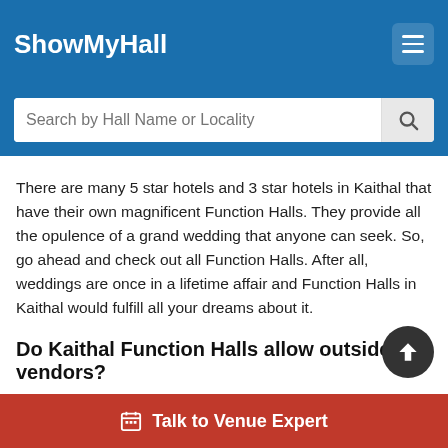ShowMyHall
There are many 5 star hotels and 3 star hotels in Kaithal that have their own magnificent Function Halls. They provide all the opulence of a grand wedding that anyone can seek. So, go ahead and check out all Function Halls. After all, weddings are once in a lifetime affair and Function Halls in Kaithal would fulfill all your dreams about it.
Do Kaithal Function Halls allow outside vendors?
Well, some Function Halls allow certain vendors while restricting others. Most Function Halls have their panel of vendors of each type like decorators, caterers, etc, and they let you choose any one from that list. Before hiring a vendor, it is always best to check with the venue by calling them above phone number and then go ahead to hire your
Talk to Venue Expert